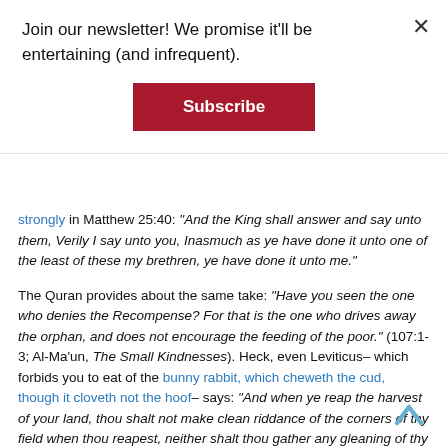Join our newsletter! We promise it'll be entertaining (and infrequent).
Subscribe
strongly in Matthew 25:40: “And the King shall answer and say unto them, Verily I say unto you, Inasmuch as ye have done it unto one of the least of these my brethren, ye have done it unto me.”
The Quran provides about the same take: “Have you seen the one who denies the Recompense? For that is the one who drives away the orphan, and does not encourage the feeding of the poor.” (107:1-3; Al-Ma’un, The Small Kindnesses). Heck, even Leviticus– which forbids you to eat of the bunny rabbit, which cheweth the cud, though it cloveth not the hoof– says: “And when ye reap the harvest of your land, thou shalt not make clean riddance of the corners of thy field when thou reapest, neither shalt thou gather any gleaning of thy harvest;